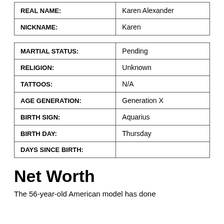| REAL NAME: | Karen Alexander |
| NICKNAME: | Karen |
| MARTIAL STATUS: | Pending |
| RELIGION: | Unknown |
| TATTOOS: | N/A |
| AGE GENERATION: | Generation X |
| BIRTH SIGN: | Aquarius |
| BIRTH DAY: | Thursday |
| DAYS SINCE BIRTH: |  |
Net Worth
The 56-year-old American model has done